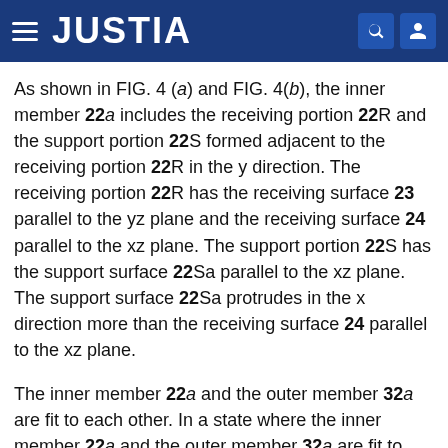JUSTIA
As shown in FIG. 4 (a) and FIG. 4(b), the inner member 22a includes the receiving portion 22R and the support portion 22S formed adjacent to the receiving portion 22R in the y direction. The receiving portion 22R has the receiving surface 23 parallel to the yz plane and the receiving surface 24 parallel to the xz plane. The support portion 22S has the support surface 22Sa parallel to the xz plane. The support surface 22Sa protrudes in the x direction more than the receiving surface 24 parallel to the xz plane.
The inner member 22a and the outer member 32a are fit to each other. In a state where the inner member 22a and the outer member 32a are fit to each other, the support surface 22Sa of the inner member 22a is entirety in contact with the side surface 33sa, of the outer member 32a, parallel to the xz plane (see FIG. 5(b))